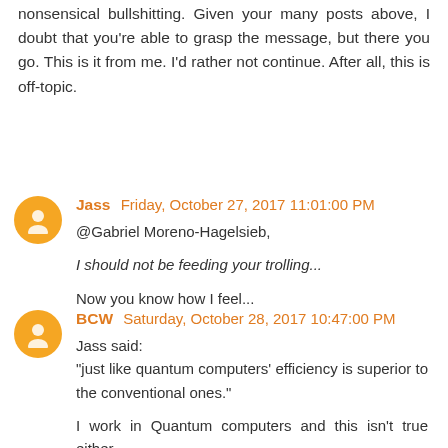nonsensical bullshitting. Given your many posts above, I doubt that you're able to grasp the message, but there you go. This is it from me. I'd rather not continue. After all, this is off-topic.
Jass  Friday, October 27, 2017 11:01:00 PM
@Gabriel Moreno-Hagelsieb,

I should not be feeding your trolling...

Now you know how I feel...
BCW  Saturday, October 28, 2017 10:47:00 PM
Jass said:
"just like quantum computers' efficiency is superior to the conventional ones."

I work in Quantum computers and this isn't true either.